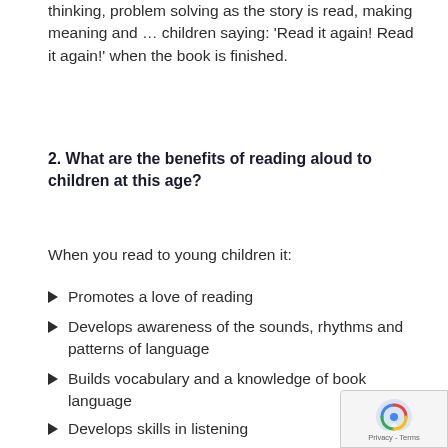thinking, problem solving as the story is read, making meaning and … children saying: 'Read it again! Read it again!' when the book is finished.
2. What are the benefits of reading aloud to children at this age?
When you read to young children it:
Promotes a love of reading
Develops awareness of the sounds, rhythms and patterns of language
Builds vocabulary and a knowledge of book language
Develops skills in listening